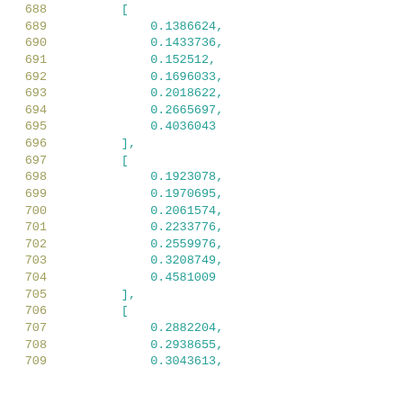Code listing lines 688-709 showing numerical array data
688: [
689:     0.1386624,
690:     0.1433736,
691:     0.152512,
692:     0.1696033,
693:     0.2018622,
694:     0.2665697,
695:     0.4036043
696: ],
697: [
698:     0.1923078,
699:     0.1970695,
700:     0.2061574,
701:     0.2233776,
702:     0.2559976,
703:     0.3208749,
704:     0.4581009
705: ],
706: [
707:     0.2882204,
708:     0.2938655,
709:     0.3043613,